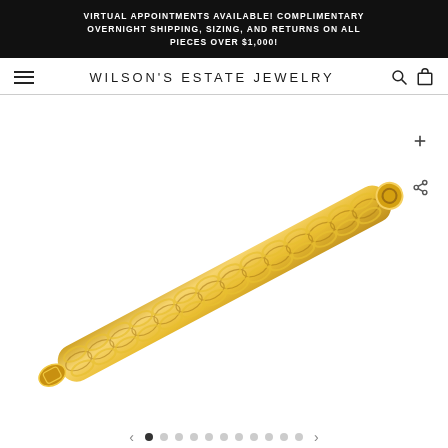VIRTUAL APPOINTMENTS AVAILABLE! COMPLIMENTARY OVERNIGHT SHIPPING, SIZING, AND RETURNS ON ALL PIECES OVER $1,000!
WILSON'S ESTATE JEWELRY
[Figure (photo): Gold chain link bracelet displayed diagonally on a white background, with a spring ring clasp visible at the upper right end and a lobster clasp at the lower left end. Two overlay buttons: a zoom (+) button and a share button.]